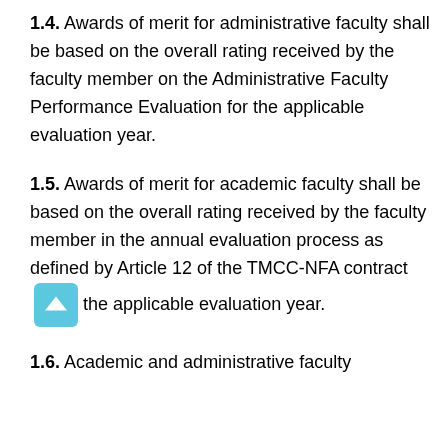1.4. Awards of merit for administrative faculty shall be based on the overall rating received by the faculty member on the Administrative Faculty Performance Evaluation for the applicable evaluation year.
1.5. Awards of merit for academic faculty shall be based on the overall rating received by the faculty member in the annual evaluation process as defined by Article 12 of the TMCC-NFA contract for the applicable evaluation year.
1.6. Academic and administrative faculty